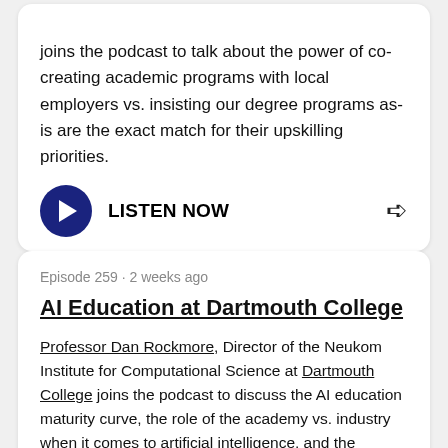joins the podcast to talk about the power of co-creating academic programs with local employers vs. insisting our degree programs as-is are the exact match for their upskilling priorities.
LISTEN NOW
Episode 259 · 2 weeks ago
AI Education at Dartmouth College
Professor Dan Rockmore, Director of the Neukom Institute for Computational Science at Dartmouth College joins the podcast to discuss the AI education maturity curve, the role of the academy vs. industry when it comes to artificial intelligence, and the economic reality when industry is willing to pay our AI faculty far more than we can.